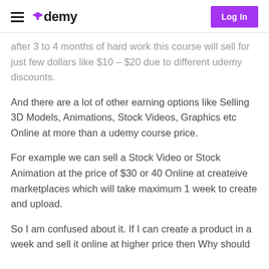udemy | Log In
after 3 to 4 months of hard work this course will sell for just few dollars like $10 – $20 due to different udemy discounts.
And there are a lot of other earning options like Selling 3D Models, Animations, Stock Videos, Graphics etc Online at more than a udemy course price.
For example we can sell a Stock Video or Stock Animation at the price of $30 or 40 Online at createive marketplaces which will take maximum 1 week to create and upload.
So I am confused about it. If I can create a product in a week and sell it online at higher price then Why should